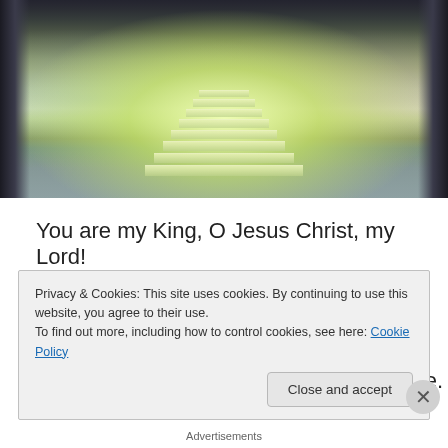[Figure (illustration): Heavenly staircase scene with bright golden light in the center, dark pillars on the sides, angelic figures, misty atmosphere with green-gold glowing steps ascending upward.]
You are my King, O Jesus Christ, my Lord!
I bow to You and pledge my very life,
The very life that You in me restored,
And now I serve You in this world of strife.
Privacy & Cookies: This site uses cookies. By continuing to use this website, you agree to their use.
To find out more, including how to control cookies, see here: Cookie Policy
Close and accept
Advertisements